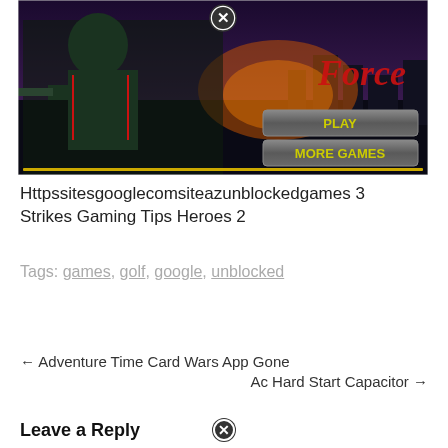[Figure (screenshot): Screenshot of a game called 'Force' with soldiers, a dark background, and two buttons labeled PLAY and MORE GAMES, plus a close (X) button in top center]
Httpssitesgooglecomsiteazunblockedgames 3 Strikes Gaming Tips Heroes 2
Tags: games, golf, google, unblocked
← Adventure Time Card Wars App Gone
Ac Hard Start Capacitor →
Leave a Reply